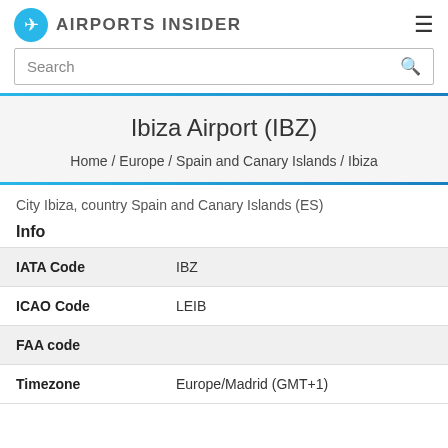AIRPORTS INSIDER
Ibiza Airport (IBZ)
Home / Europe / Spain and Canary Islands / Ibiza
City Ibiza, country Spain and Canary Islands (ES)
Info
| Field | Value |
| --- | --- |
| IATA Code | IBZ |
| ICAO Code | LEIB |
| FAA code |  |
| Timezone | Europe/Madrid (GMT+1) |